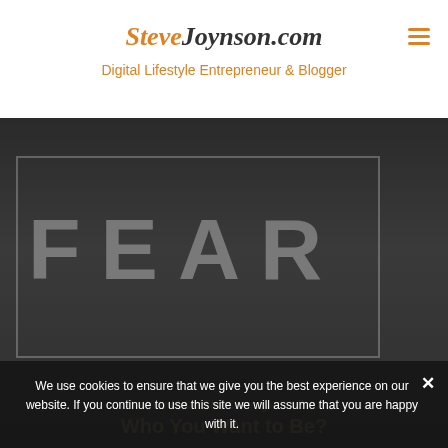SteveJoynson.com
Digital Lifestyle Entrepreneur & Blogger
[Figure (illustration): Dark chalkboard background with the word FEAR written in large chalky capital letters inside a rectangular border, suggesting a motivational or self-help theme.]
Do You Have The Courage To Be Who You Want to Be?
We use cookies to ensure that we give you the best experience on our website. If you continue to use this site we will assume that you are happy with it.